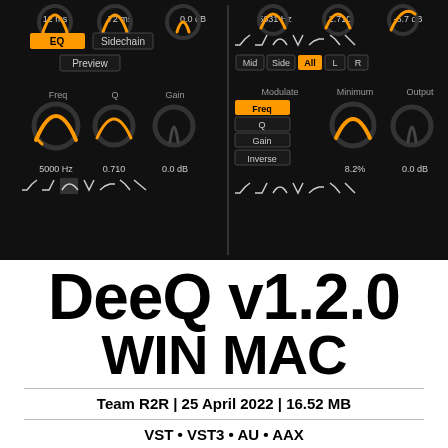[Figure (screenshot): DeeQ audio plugin UI screenshot showing two panels. Left panel: knobs for Freq (5000 Hz), Q (0.710), Gain (0.0 dB), EQ button (orange), Sidechain button, Preview button, filter type icons. Top shows values 12 ms, 72 ms, 0.0 dB. Right panel: values 5631 Hz, 2.710, -6.7 dB, filter icons, Mid/Side/All/L/R tabs (All highlighted orange), Modulate/Minimum/Output labels, Freq/Q/Gain/Inverse modulate options, knobs showing 8.2% and 0.0 dB.]
DeeQ v1.2.0
WIN MAC
Team R2R | 25 April 2022 | 16.52 MB
VST • VST3 • AU • AAX